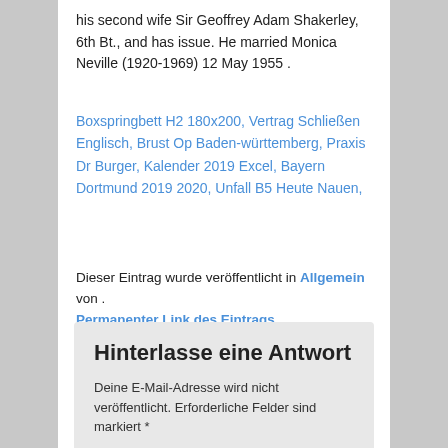his second wife Sir Geoffrey Adam Shakerley, 6th Bt., and has issue. He married Monica Neville (1920-1969) 12 May 1955 .
Boxspringbett H2 180x200, Vertrag Schließen Englisch, Brust Op Baden-württemberg, Praxis Dr Burger, Kalender 2019 Excel, Bayern Dortmund 2019 2020, Unfall B5 Heute Nauen,
Dieser Eintrag wurde veröffentlicht in Allgemein von . Permanenter Link des Eintrags.
Hinterlasse eine Antwort
Deine E-Mail-Adresse wird nicht veröffentlicht. Erforderliche Felder sind markiert *
Name *